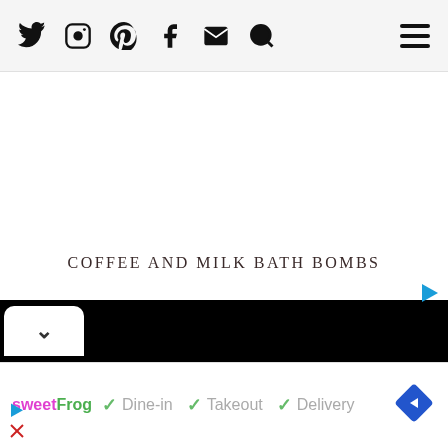Social media icons (Twitter, Instagram, Pinterest, Facebook, Email, Search) and hamburger menu
COFFEE AND MILK BATH BOMBS
[Figure (other): Advertisement arrow icon (blue play button triangle)]
[Figure (other): Black banner with white collapsible tab showing chevron down arrow]
[Figure (other): SweetFrog advertisement banner with Dine-in, Takeout, Delivery options and navigation diamond icon]